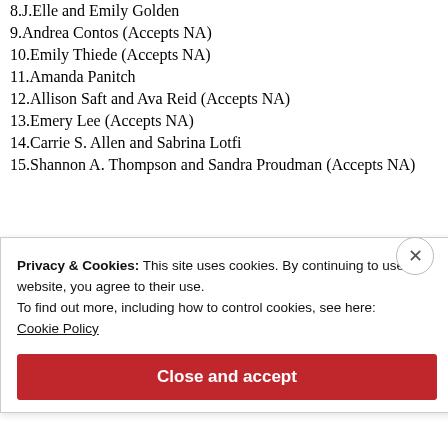8. J.Elle and Emily Golden
9. Andrea Contos (Accepts NA)
10. Emily Thiede (Accepts NA)
11. Amanda Panitch
12. Allison Saft and Ava Reid (Accepts NA)
13. Emery Lee (Accepts NA)
14. Carrie S. Allen and Sabrina Lotfi
15. Shannon A. Thompson and Sandra Proudman (Accepts NA)
Privacy & Cookies: This site uses cookies. By continuing to use this website, you agree to their use.
To find out more, including how to control cookies, see here:
Cookie Policy
Close and accept